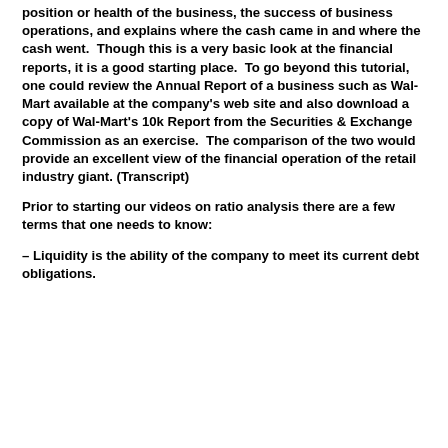position or health of the business, the success of business operations, and explains where the cash came in and where the cash went.  Though this is a very basic look at the financial reports, it is a good starting place.  To go beyond this tutorial, one could review the Annual Report of a business such as Wal-Mart available at the company's web site and also download a copy of Wal-Mart's 10k Report from the Securities & Exchange Commission as an exercise.  The comparison of the two would provide an excellent view of the financial operation of the retail industry giant. (Transcript)
Prior to starting our videos on ratio analysis there are a few terms that one needs to know:
– Liquidity is the ability of the company to meet its current debt obligations.